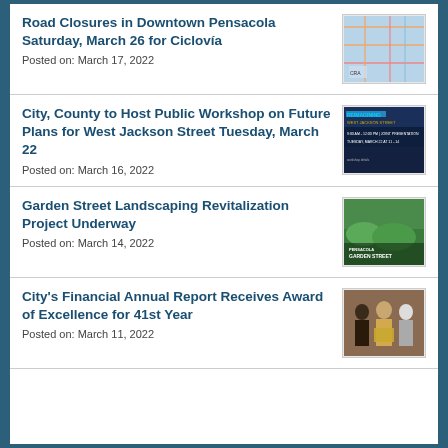Road Closures in Downtown Pensacola Saturday, March 26 for Ciclovía
Posted on: March 17, 2022
[Figure (map): Map image showing road closures in downtown Pensacola]
City, County to Host Public Workshop on Future Plans for West Jackson Street Tuesday, March 22
Posted on: March 16, 2022
[Figure (photo): Dark blue promotional image for public workshop on West Jackson Street]
Garden Street Landscaping Revitalization Project Underway
Posted on: March 14, 2022
[Figure (photo): Garden Street landscaping project image with green plants and Pensacola branding]
City's Financial Annual Report Receives Award of Excellence for 41st Year
Posted on: March 11, 2022
[Figure (photo): Photo of people receiving award for financial annual report]